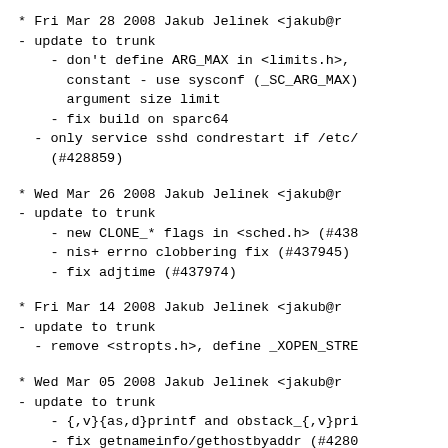* Fri Mar 28 2008 Jakub Jelinek <jakub@r
- update to trunk
    - don't define ARG_MAX in <limits.h>,
      constant - use sysconf (_SC_ARG_MAX)
      argument size limit
    - fix build on sparc64
  - only service sshd condrestart if /etc/
    (#428859)
* Wed Mar 26 2008 Jakub Jelinek <jakub@r
- update to trunk
    - new CLONE_* flags in <sched.h> (#438
    - nis+ errno clobbering fix (#437945)
    - fix adjtime (#437974)
* Fri Mar 14 2008 Jakub Jelinek <jakub@r
- update to trunk
  - remove <stropts.h>, define _XOPEN_STRE
* Wed Mar 05 2008 Jakub Jelinek <jakub@r
- update to trunk
    - {,v}{as,d}printf and obstack_{,v}pri
    - fix getnameinfo/gethostbyaddr (#4280